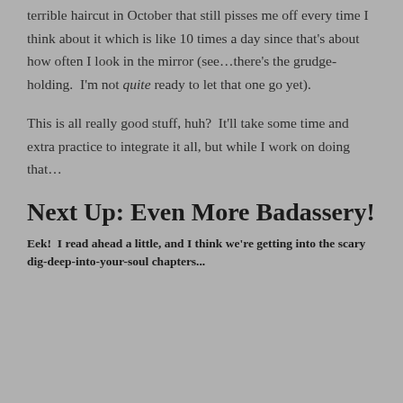terrible haircut in October that still pisses me off every time I think about it which is like 10 times a day since that's about how often I look in the mirror (see…there's the grudge-holding.  I'm not quite ready to let that one go yet).
This is all really good stuff, huh?  It'll take some time and extra practice to integrate it all, but while I work on doing that…
Next Up: Even More Badassery!
Eek!  I read ahead a little, and I think we're getting into the scary dig-deep-into-your-soul chapters...